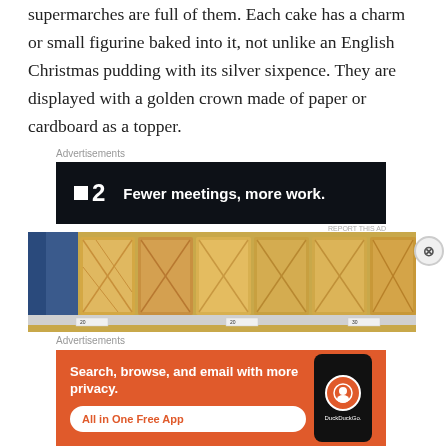supermarches are full of them. Each cake has a charm or small figurine baked into it, not unlike an English Christmas pudding with its silver sixpence. They are displayed with a golden crown made of paper or cardboard as a topper.
Advertisements
[Figure (screenshot): Advertisement banner for a productivity app (P2). Dark navy background with white text: 'Fewer meetings, more work.' with a logo showing two squares and the number 2.]
[Figure (photo): Photograph of packaged cakes/pastries on a supermarket shelf. Multiple boxes of what appear to be galette des rois or similar baked goods with price tags visible below.]
Advertisements
[Figure (screenshot): Advertisement for DuckDuckGo app on orange background. Text reads 'Search, browse, and email with more privacy. All in One Free App' with a DuckDuckGo logo and phone mockup.]